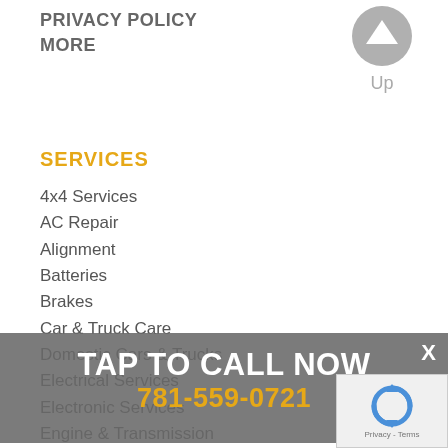PRIVACY POLICY
MORE
[Figure (other): Up arrow button (circular grey icon) with label 'Up' below it]
SERVICES
4x4 Services
AC Repair
Alignment
Batteries
Brakes
Car & Truck Care
Domestic Cars & Trucks
Electrical Services
Electronic Services
Engine & Transmission
Engine Maintenance
General Services
Heating and Cooling Services
Import Cars & Trucks
Miscellaneous Services
Quick Lube Services
Tires
TAP TO CALL NOW
781-559-0721
[Figure (other): reCAPTCHA widget with spinning arrows logo and Privacy - Terms text]